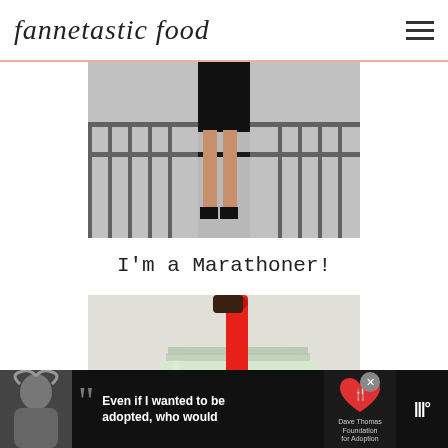fannetastic food
[Figure (photo): Person wearing a black skirt and black shoes standing near metal railings, photo cropped to show lower body]
I'm a Marathoner!
[Figure (photo): Close-up of a red spoon or spatula being placed into a glass mason jar containing a green-colored liquid or smoothie, on a green surface]
[Figure (photo): Advertisement banner: black background with grayscale photo of a woman with curly hair, large quotation mark, text 'Even if I wanted to be adopted, who would', Dave Thomas Foundation for Adoption logo, and weather widget icon]